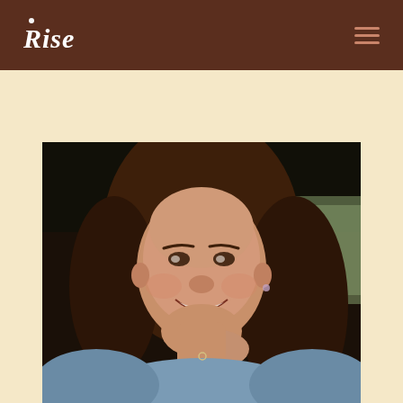Rise
[Figure (photo): Portrait photo of a smiling woman with long dark brown hair, seated in what appears to be a vehicle interior, resting her chin on her hand, wearing a light blue denim top. Dark background suggests car interior.]